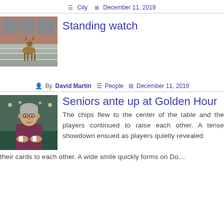☰ City  ⊞ December 11, 2019
[Figure (photo): A deer standing on steps outside a brick building, looking at the camera.]
Standing watch
👤 By David Martin  ☰ People  ⊞ December 11, 2019
[Figure (photo): An elderly woman with short gray hair wearing a dark red turtleneck, seated at a table that appears to be a card game setting.]
Seniors ante up at Golden Hour
The chips flew to the center of the table and the players continued to raise each other. A tense showdown ensued as players quietly revealed their cards to each other. A wide smile quickly forms on Do…